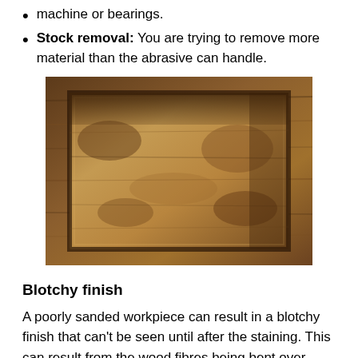machine or bearings.
Stock removal: You are trying to remove more material than the abrasive can handle.
[Figure (photo): A wooden panel with visible wood grain and staining, showing a raised rectangular inset panel. The wood shows blotchy, uneven staining with darker edges and lighter center areas, illustrating poor sanding or finishing results.]
Blotchy finish
A poorly sanded workpiece can result in a blotchy finish that can't be seen until after the staining. This can result from the wood fibres being bent over rather than sheared off. The fibres can stand up again after the finishing process, resulting in random